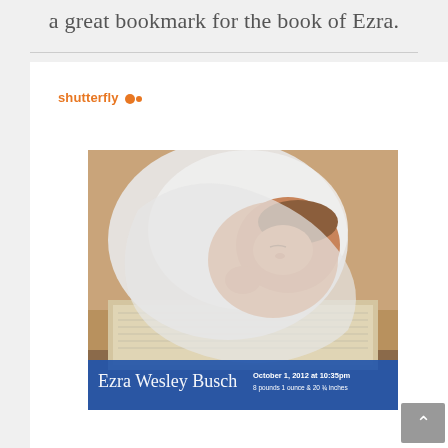a great bookmark for the book of Ezra.
[Figure (logo): Shutterfly logo with orange text and two dots]
[Figure (photo): Newborn baby Ezra Wesley Busch sleeping on an open Bible, with birth announcement overlay: October 1, 2012 at 10:35pm, 8 pounds 1 ounce & 20 3/4 inches]